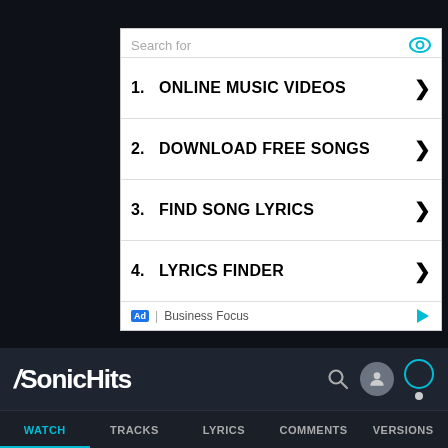[Figure (screenshot): Ad panel with search results listing: 1. ONLINE MUSIC VIDEOS, 2. DOWNLOAD FREE SONGS, 3. FIND SONG LYRICS, 4. LYRICS FINDER. Footer shows Ad badge and Business Focus text.]
[Figure (screenshot): SonicHits website navigation bar with logo, search icon, user icon, and circle icon]
WATCH
TRACKS
LYRICS
COMMENTS
VERSIONS